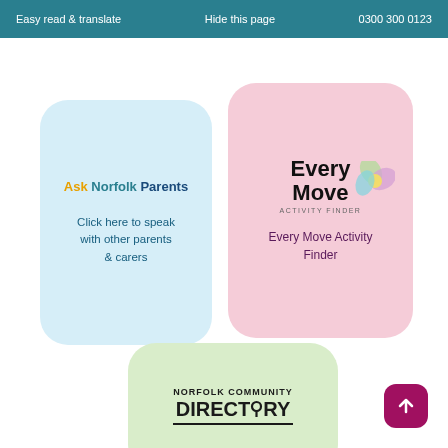Easy read & translate    Hide this page    0300 300 0123
[Figure (illustration): Light blue rounded card with 'Ask Norfolk Parents' heading and 'Click here to speak with other parents & carers' text]
[Figure (logo): Pink rounded card with Every Move Activity Finder logo and text 'Every Move Activity Finder']
[Figure (logo): Light green rounded card with Norfolk Community Directory logo]